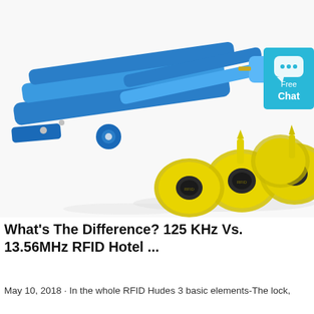[Figure (photo): Photo of a blue metal RFID ear tag applicator/plier tool alongside several yellow RFID ear tag buttons with black RFID chip centers, on a white background. A teal 'Free Chat' badge is overlaid in the top-right corner.]
What's The Difference? 125 KHz Vs. 13.56MHz RFID Hotel ...
May 10, 2018 · In the whole RFID Hudes 3 basic elements-The lock,